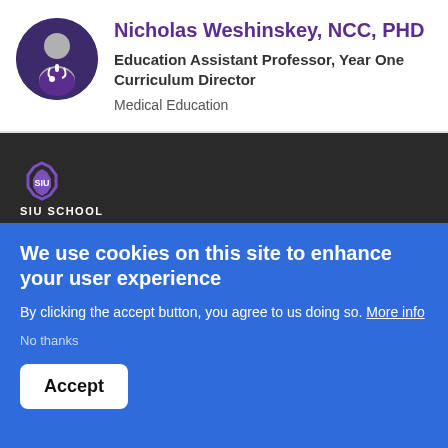[Figure (illustration): Circular avatar with dark purple background showing a generic person/doctor silhouette with stethoscope]
Nicholas Weshinskey, NCC, PHD
Education Assistant Professor, Year One Curriculum Director
Medical Education
[Figure (logo): SIU School of Medicine logo - purple hexagonal icon with SIU SCHOOL OF MEDICINE text]
We use cookies on this site to enhance your user experience
By clicking the accept button, you agree to us doing so. More info
No thanks
Accept